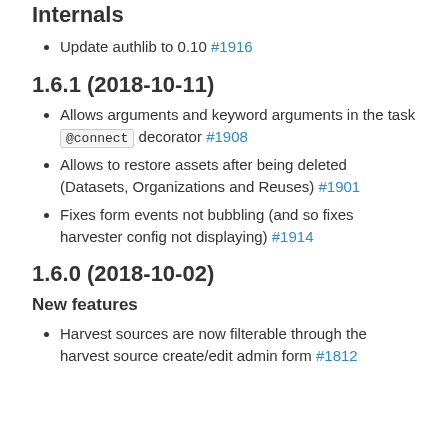Internals
Update authlib to 0.10 #1916
1.6.1 (2018-10-11)
Allows arguments and keyword arguments in the task @connect decorator #1908
Allows to restore assets after being deleted (Datasets, Organizations and Reuses) #1901
Fixes form events not bubbling (and so fixes harvester config not displaying) #1914
1.6.0 (2018-10-02)
New features
Harvest sources are now filterable through the harvest source create/edit admin form #1812